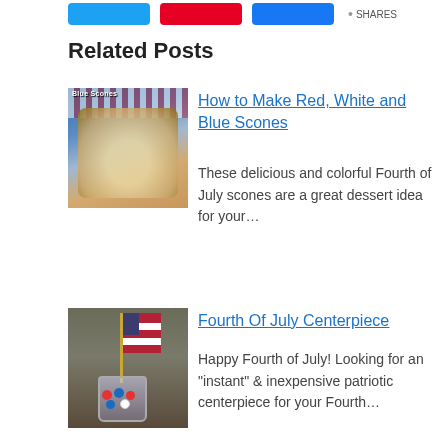Related Posts
[Figure (photo): Photo of red, white and blue scones in a blue baking dish with patriotic decorations]
How to Make Red, White and Blue Scones
These delicious and colorful Fourth of July scones are a great dessert idea for your…
[Figure (photo): Photo of a small American flag in a jar filled with red, white, and blue candies on a rustic background]
Fourth Of July Centerpiece
Happy Fourth of July! Looking for an "instant" & inexpensive patriotic centerpiece for your Fourth…